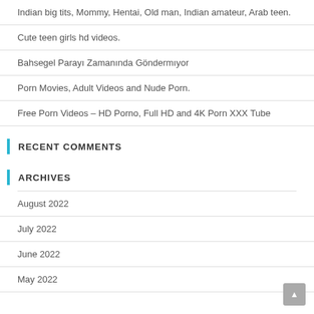Indian big tits, Mommy, Hentai, Old man, Indian amateur, Arab teen.
Cute teen girls hd videos.
Bahsegel Parayı Zamanında Göndermıyor
Porn Movies, Adult Videos and Nude Porn.
Free Porn Videos – HD Porno, Full HD and 4K Porn XXX Tube
RECENT COMMENTS
ARCHIVES
August 2022
July 2022
June 2022
May 2022